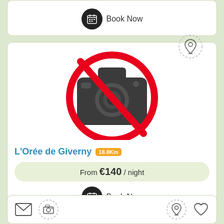[Figure (screenshot): Top partial card showing Book Now button with calendar icon]
[Figure (screenshot): Main listing card for L'Orée de Giverny with no-photo placeholder (red circle-slash over camera icon), location pin dashed circle top-right, property name with 18.8Km badge, price from €140/night, and Book Now button]
L'Orée de Giverny
18.8Km
From €140 / night
Book Now
[Figure (screenshot): Bottom bar with envelope icon, camera icon (dashed), location pin icon (dashed), heart icon]